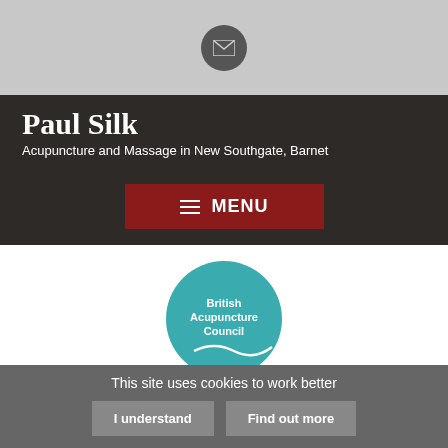[Figure (other): Email envelope icon in a circular grey button]
Paul Silk
Acupuncture and Massage in New Southgate, Barnet
≡ MENU
[Figure (logo): British Acupuncture Council circular logo in teal with white text and wave graphic]
Ethos
To always to present people with choices about their state of health and state of mind.
This site uses cookies to work better
I understand   Find out more